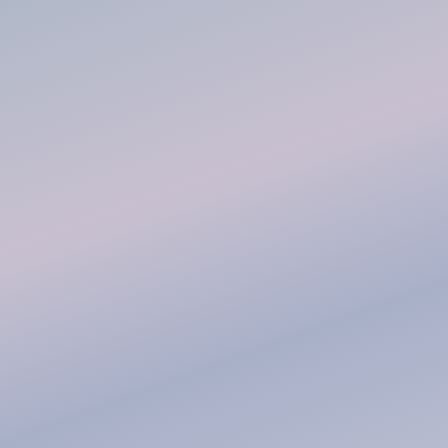[Figure (photo): Left portion of page showing a gradient background blending lavender, blue-grey, and light purple tones, occupying roughly the left half of the visible page area.]
michael kor
ugg boots
red bottom
ray ban sun
coach outle
louboutin o
canada goo
timberland
pandora cha
coach outle
ugg boots c
cheap jorda
kate spade
harden sho
ugg
adidas yeez
adidas nmd
canada goo
polo ralph la
ray ban sun
cheap nfl je
ferragamo s
ralph lauren
north face ja
north face ja
ugg boots
polo ralph la
michael kor
canada goo
coach facto
michael kor